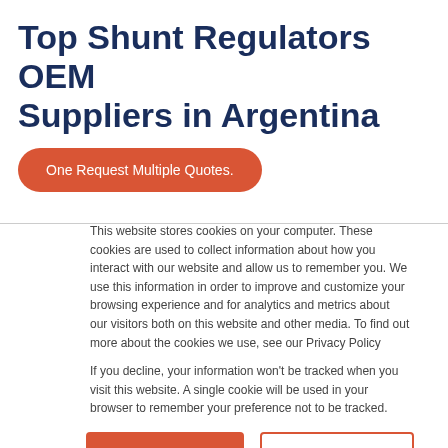Top Shunt Regulators OEM Suppliers in Argentina
One Request Multiple Quotes.
This website stores cookies on your computer. These cookies are used to collect information about how you interact with our website and allow us to remember you. We use this information in order to improve and customize your browsing experience and for analytics and metrics about our visitors both on this website and other media. To find out more about the cookies we use, see our Privacy Policy
If you decline, your information won't be tracked when you visit this website. A single cookie will be used in your browser to remember your preference not to be tracked.
Accept
Decline